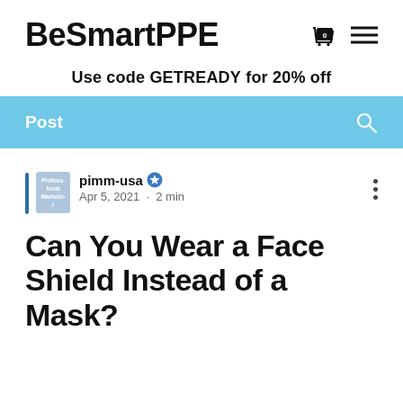BeSmartPPE
Use code GETREADY for 20% off
Post
pimm-usa · Apr 5, 2021 · 2 min
Can You Wear a Face Shield Instead of a Mask?